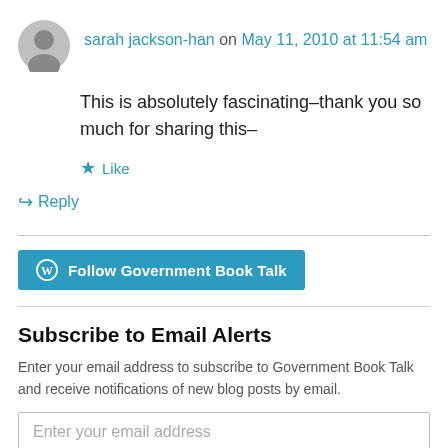sarah jackson-han on May 11, 2010 at 11:54 am
This is absolutely fascinating–thank you so much for sharing this–
★ Like
↳ Reply
[Figure (other): Follow Government Book Talk button with WordPress logo]
Subscribe to Email Alerts
Enter your email address to subscribe to Government Book Talk and receive notifications of new blog posts by email.
Enter your email address